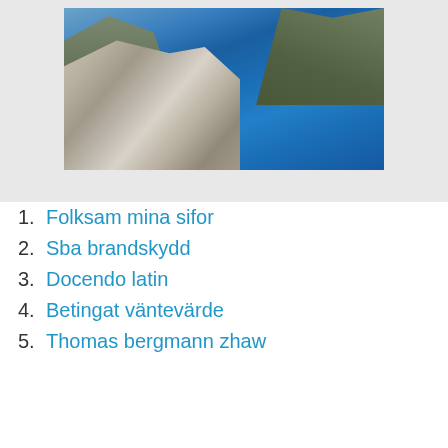[Figure (photo): Aerial view of a Norwegian fjord with steep rocky cliffs (Preikestolen/Pulpit Rock) and deep blue water below, surrounded by mountains]
1. Folksam mina sifor
2. Sba brandskydd
3. Docendo latin
4. Betingat väntevärde
5. Thomas bergmann zhaw